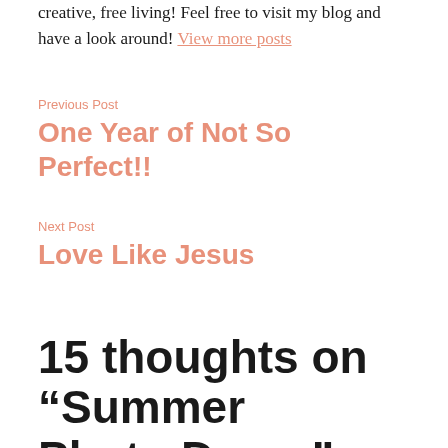creative, free living! Feel free to visit my blog and have a look around! View more posts
Previous Post
One Year of Not So Perfect!!
Next Post
Love Like Jesus
15 thoughts on “Summer Photo Dump”